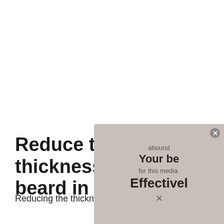Reduce the thickness of your beard in these ways
Reducing the thickness of your beard
[Figure (other): Advertisement overlay showing blurred text: 'Your beard... for this media. Effectively X' with a close button, partially covering the lower right of the page.]